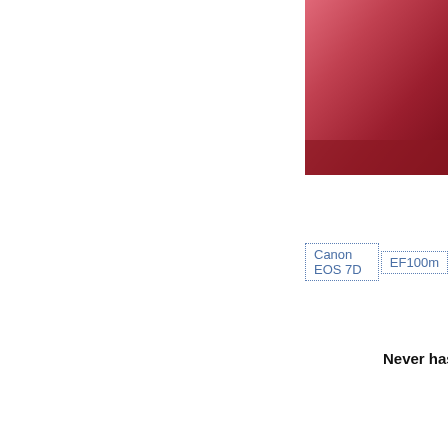[Figure (photo): Partial view of a red-toned photo, cropped on the right side of the page, top portion]
Canon EOS 7D | EF100m
Never has '
[Figure (photo): Partial view of a garden/landscape photo with green foliage, cropped on the right side of the page, bottom portion]